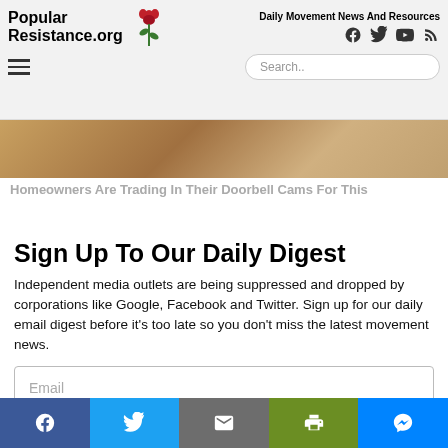Popular Resistance.org — Daily Movement News And Resources
[Figure (screenshot): Partial view of an advertisement image showing stone/brick texture, labeled 'Homeowners Are Trading In Their Doorbell Cams For This']
Homeowners Are Trading In Their Doorbell Cams For This
Sign Up To Our Daily Digest
Independent media outlets are being suppressed and dropped by corporations like Google, Facebook and Twitter. Sign up for our daily email digest before it's too late so you don't miss the latest movement news.
Email
Social sharing bar: Facebook, Twitter, Email, Print, Messenger